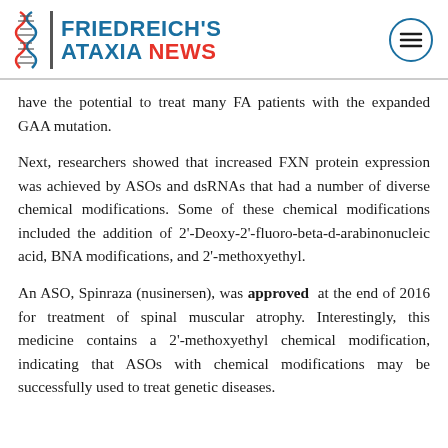FRIEDREICH'S ATAXIA NEWS
have the potential to treat many FA patients with the expanded GAA mutation.
Next, researchers showed that increased FXN protein expression was achieved by ASOs and dsRNAs that had a number of diverse chemical modifications. Some of these chemical modifications included the addition of 2'-Deoxy-2'-fluoro-beta-d-arabinonucleic acid, BNA modifications, and 2'-methoxyethyl.
An ASO, Spinraza (nusinersen), was approved at the end of 2016 for treatment of spinal muscular atrophy. Interestingly, this medicine contains a 2'-methoxyethyl chemical modification, indicating that ASOs with chemical modifications may be successfully used to treat genetic diseases.